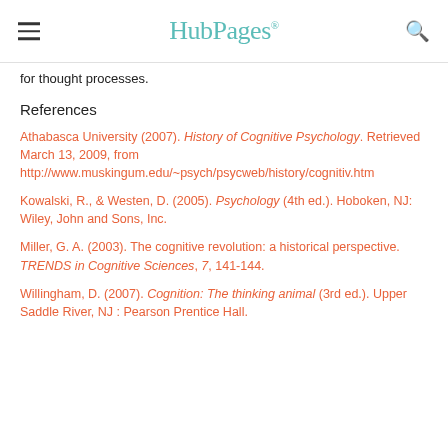HubPages
for thought processes.
References
Athabasca University (2007). History of Cognitive Psychology. Retrieved March 13, 2009, from http://www.muskingum.edu/~psych/psycweb/history/cognitiv.htm
Kowalski, R., & Westen, D. (2005). Psychology (4th ed.). Hoboken, NJ: Wiley, John and Sons, Inc.
Miller, G. A. (2003). The cognitive revolution: a historical perspective. TRENDS in Cognitive Sciences, 7, 141-144.
Willingham, D. (2007). Cognition: The thinking animal (3rd ed.). Upper Saddle River, NJ : Pearson Prentice Hall.